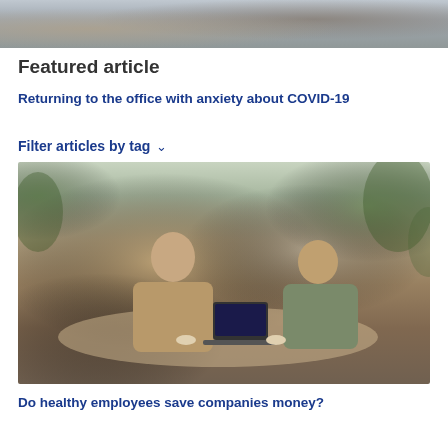[Figure (photo): Top partial photo showing people working with laptops at a table, cropped at top]
Featured article
Returning to the office with anxiety about COVID-19
Filter articles by tag ∨
[Figure (photo): Two women sitting across from each other at a café table, one with glasses in a tan shirt gesturing, the other in an olive jacket; a laptop is open on the table; lush green plants in background]
Do healthy employees save companies money?